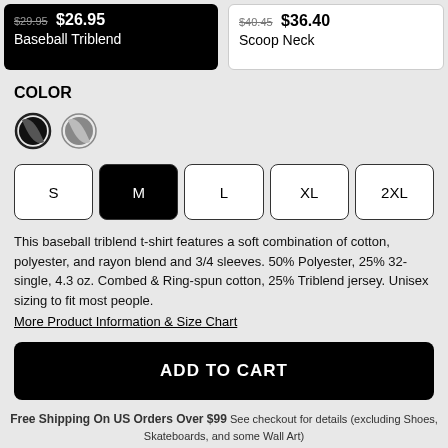$29.95 $26.95 Baseball Triblend
$40.45 $36.40 Scoop Neck
COLOR
[Figure (other): Two circular color swatches: one black/dark with a border (selected), one gray/lighter]
S M L XL 2XL size selector buttons, M selected
This baseball triblend t-shirt features a soft combination of cotton, polyester, and rayon blend and 3/4 sleeves. 50% Polyester, 25% 32-single, 4.3 oz. Combed & Ring-spun cotton, 25% Triblend jersey. Unisex sizing to fit most people.
More Product Information & Size Chart
ADD TO CART
Free Shipping On US Orders Over $99 See checkout for details (excluding Shoes, Skateboards, and some Wall Art)